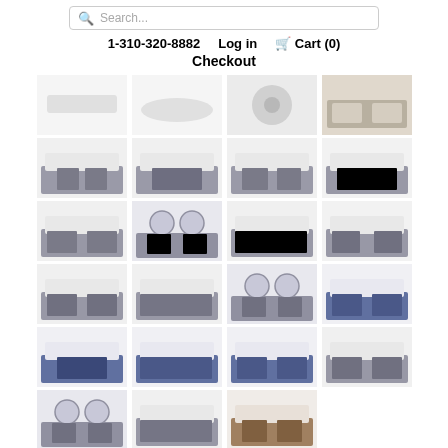Search...
1-310-320-8882   Log in   Cart (0)
Checkout
[Figure (photo): Grid of bathroom vanity product thumbnails showing various vanity styles, sink configurations, and color options including gray, blue, and brown finishes]
[Figure (photo): Sink top view - elongated white sink]
[Figure (photo): Sink angled view]
[Figure (photo): Sink with drain circle detail]
[Figure (photo): Vanity overhead corner view]
[Figure (photo): Gray vanity front view with sink]
[Figure (photo): Gray vanity open shelf view]
[Figure (photo): Gray vanity with double sink]
[Figure (photo): Gray vanity side perspective]
[Figure (photo): Gray vanity angled front]
[Figure (photo): Double sink mirror cabinet view]
[Figure (photo): Gray wide vanity]
[Figure (photo): Gray vanity small corner]
[Figure (photo): Gray vanity with white top]
[Figure (photo): Gray wide vanity with white top]
[Figure (photo): Double sink mirror vanity large]
[Figure (photo): Blue vanity front]
[Figure (photo): Blue vanity open]
[Figure (photo): Blue wide vanity]
[Figure (photo): Blue vanity side]
[Figure (photo): Gray vanity bottom row 1]
[Figure (photo): Double mirror vanity bottom]
[Figure (photo): Gray wide vanity bottom]
[Figure (photo): Brown vanity open frame]